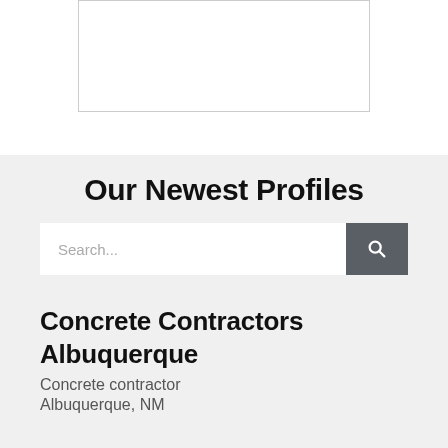[Figure (other): White rectangle image placeholder with thin border, partially visible at top of page]
Our Newest Profiles
[Figure (screenshot): Search bar with text input field showing placeholder text 'Search...' and a dark gray search button with magnifying glass icon]
Concrete Contractors Albuquerque
Concrete contractor
Albuquerque, NM